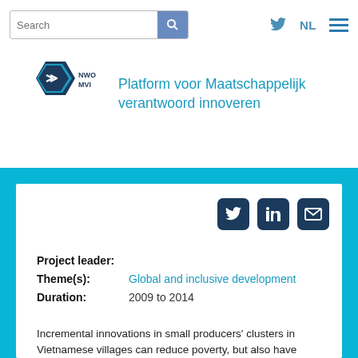Search | NL
[Figure (logo): NWO MVI hexagonal logo with arrow icon]
Platform voor Maatschappelijk verantwoord innoveren
[Figure (infographic): Social sharing icons: Twitter, LinkedIn, Email on dark navy rounded squares]
Project leader:
Theme(s): Global and inclusive development
Duration: 2009 to 2014
Incremental innovations in small producers' clusters in Vietnamese villages can reduce poverty, but also have